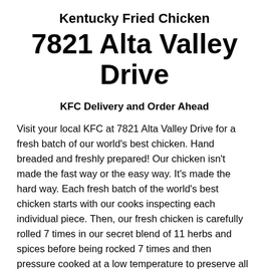Kentucky Fried Chicken
7821 Alta Valley Drive
KFC Delivery and Order Ahead
Visit your local KFC at 7821 Alta Valley Drive for a fresh batch of our world's best chicken. Hand breaded and freshly prepared! Our chicken isn't made the fast way or the easy way. It's made the hard way. Each fresh batch of the world's best chicken starts with our cooks inspecting each individual piece. Then, our fresh chicken is carefully rolled 7 times in our secret blend of 11 herbs and spices before being rocked 7 times and then pressure cooked at a low temperature to preserve all the great taste we're known for around the world. From our Original Recipe® along to our Extra Crispy™